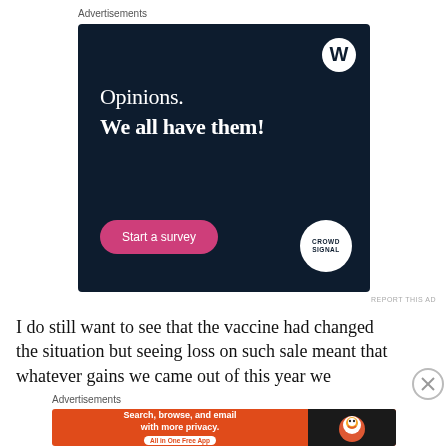Advertisements
[Figure (screenshot): WordPress/Crowdsignal advertisement with dark navy background. Shows WordPress logo (W in circle) top right. Text reads 'Opinions. We all have them!' with a pink 'Start a survey' button and Crowdsignal logo circle bottom right.]
REPORT THIS AD
I do still want to see that the vaccine had changed the situation but seeing loss on such sale meant that whatever gains we came out of this year we
Advertisements
[Figure (screenshot): DuckDuckGo advertisement on orange background. Text: 'Search, browse, and email with more privacy. All in One Free App' with DuckDuckGo duck logo on dark right panel.]
REPORT THIS AD